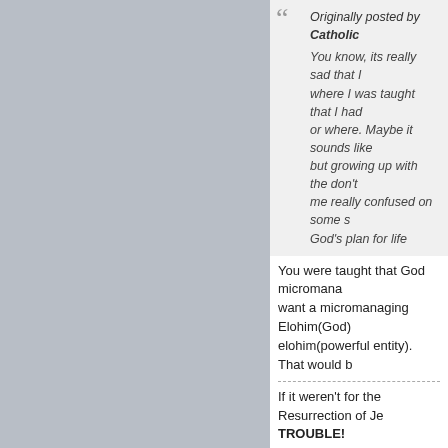[Figure (photo): Gray avatar/profile image placeholder (top post, left side)]
Originally posted by Catholic
You know, its really sad that I was taught that I had or where. Maybe it sounds like but growing up with the don't me really confused on some s God's plan for life
You were taught that God micromanaged. want a micromanaging Elohim(God) elohim(powerful entity). That would b
If it weren't for the Resurrection of Je TROUBLE!
[Figure (illustration): Gray silhouette profile avatar placeholder for user dacristoy]
dacristoy
tWebber
Join Date: Feb 2014    Posts: 266
Location: Fontana, Ca.
Faith: Christian
Gender: Male